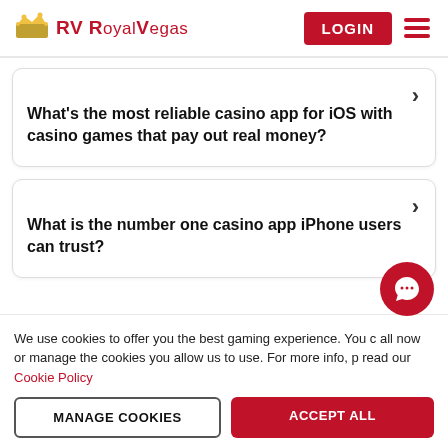RV Royal Vegas — LOGIN
What's the most reliable casino app for iOS with casino games that pay out real money?
What is the number one casino app iPhone users can trust?
We use cookies to offer you the best gaming experience. You c all now or manage the cookies you allow us to use. For more info, p read our Cookie Policy
MANAGE COOKIES | ACCEPT ALL